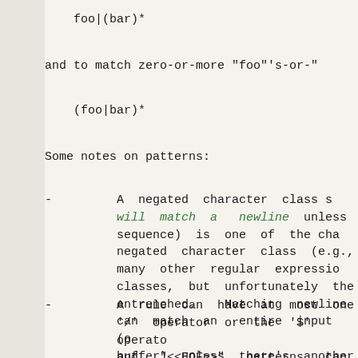foo|(bar)*
and to match zero-or-more "foo"'s-or-"
(foo|bar)*
Some notes on patterns:
A negated character class s will match a newline  unless sequence) is one of the cha negated character class (e.g., many other regular expressio classes, but unfortunately the entrenched.  Matching newline can match an entire input (o buffer) unless there's another
A rule can have at most one '/' operator or the '$' operato and "<<EOF>>" patterns can  pattern, and, as well as with ' inside parentheses. A '^' whic of a rule or a '$' which does n loses its special properties